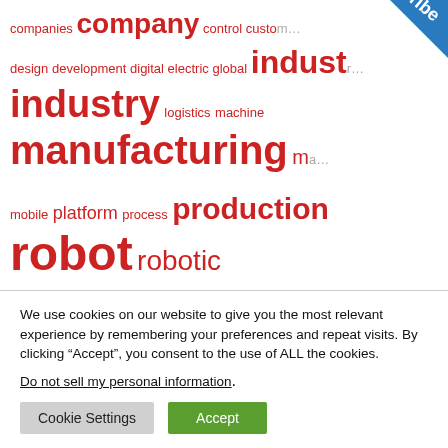[Figure (infographic): Word cloud featuring robotics and automation related terms in varying sizes in red/crimson color on white background. Terms include: companies, company, control, custom, design, development, digital, electric, global, industry, logistics, machine, manufacturing, mobile, platform, process, production, robot, robotic, robotics, robots, safety, software, solution, solutions, system, systems, technologies, technology, time, vehicle, vehicles, and more.]
We use cookies on our website to give you the most relevant experience by remembering your preferences and repeat visits. By clicking “Accept”, you consent to the use of ALL the cookies.
Do not sell my personal information.
Cookie Settings   Accept